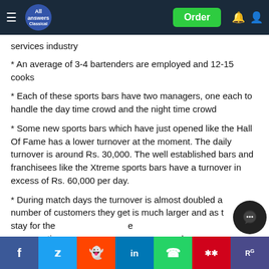All Answers | Order
services industry
* An average of 3-4 bartenders are employed and 12-15 cooks
* Each of these sports bars have two managers, one each to handle the day time crowd and the night time crowd
* Some new sports bars which have just opened like the Hall Of Fame has a lower turnover at the moment. The daily turnover is around Rs. 30,000. The well established bars and franchisees like the Xtreme sports bars have a turnover in excess of Rs. 60,000 per day.
* During match days the turnover is almost doubled a number of customers they get is much larger and as t stay for the duration of a match the consumptio and much
Facebook Twitter Reddit LinkedIn WhatsApp Meneame ResearchGate